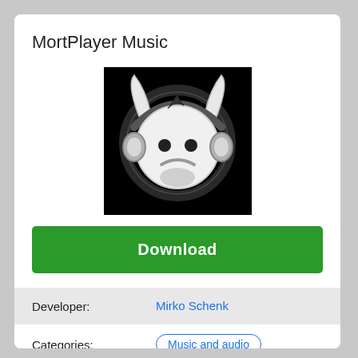MortPlayer Music
[Figure (logo): MortPlayer Music app logo: cartoon devil/imp face with headphones on black background, black and white illustration with glowing effect]
Download
| Developer: | Mirko Schenk |
| Categories: | Music and audio |